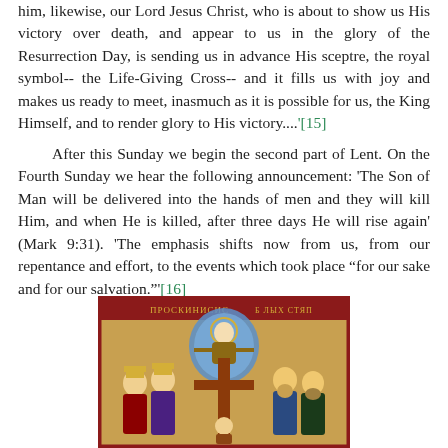him, likewise, our Lord Jesus Christ, who is about to show us His victory over death, and appear to us in the glory of the Resurrection Day, is sending us in advance His sceptre, the royal symbol-- the Life-Giving Cross-- and it fills us with joy and makes us ready to meet, inasmuch as it is possible for us, the King Himself, and to render glory to His victory....'[15]
After this Sunday we begin the second part of Lent. On the Fourth Sunday we hear the following announcement: 'The Son of Man will be delivered into the hands of men and they will kill Him, and when He is killed, after three days He will rise again' (Mark 9:31). 'The emphasis shifts now from us, from our repentance and effort, to the events which took place “for our sake and for our salvation.”'[16]
[Figure (illustration): Orthodox icon depicting the Veneration of the Cross (Proskynesis of the Holy Cross). Shows Christ in a blue mandorla at top center with arms outstretched, a large wooden cross in the center, crowned royal figures on the left, and bearded saints/apostles on the right. Text in Church Slavonic/Greek at the top reads ПРOСКИНИСИС and Б ЛЫХ СТЯП. Gold background with decorative border.]